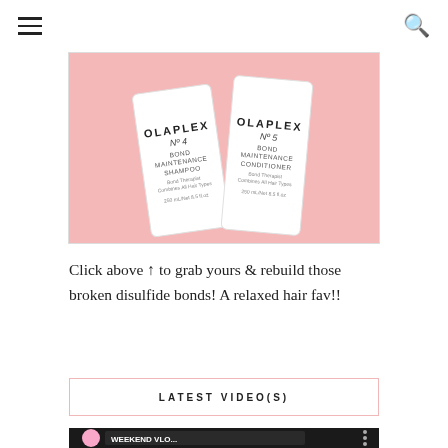Navigation menu and search icon
[Figure (photo): Two Olaplex bottles (No.4 Bond Maintenance Shampoo and No.5 Bond Maintenance Conditioner) leaning against a pink background]
Click above ↑ to grab yours & rebuild those broken disulfide bonds! A relaxed hair fav!!
LATEST VIDEO(S)
[Figure (screenshot): YouTube video thumbnail showing a woman with straight hair and the title WEEKEND VLO...]